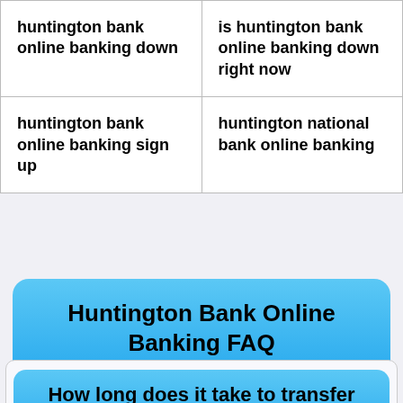| huntington bank online banking down | is huntington bank online banking down right now |
| huntington bank online banking sign up | huntington national bank online banking |
Huntington Bank Online Banking FAQ
How long does it take to transfer money from Huntington to another